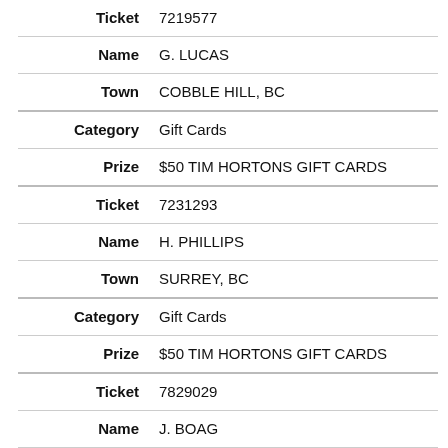| Field | Value |
| --- | --- |
| Ticket | 7219577 |
| Name | G. LUCAS |
| Town | COBBLE HILL, BC |
| Category | Gift Cards |
| Prize | $50 TIM HORTONS GIFT CARDS |
| Ticket | 7231293 |
| Name | H. PHILLIPS |
| Town | SURREY, BC |
| Category | Gift Cards |
| Prize | $50 TIM HORTONS GIFT CARDS |
| Ticket | 7829029 |
| Name | J. BOAG |
| Town | TRAIL, BC |
| Category | Gift Cards |
| Prize | $50 TIM HORTONS GIFT CARDS |
| Ticket | 7100608 |